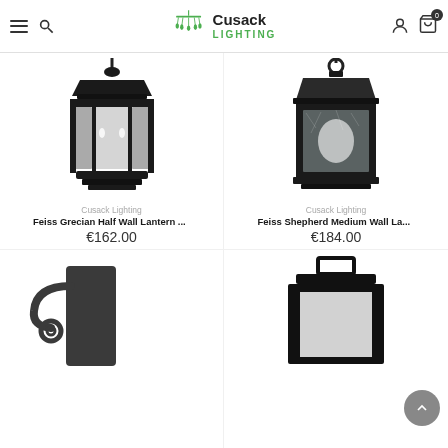Cusack Lighting
[Figure (photo): Feiss Grecian Half Wall Lantern in black finish with decorative candle-style bulbs and glass panels]
Cusack Lighting
Feiss Grecian Half Wall Lantern ...
€162.00
[Figure (photo): Feiss Shepherd Medium Wall Lantern in black/dark finish with seeded glass panels]
Cusack Lighting
Feiss Shepherd Medium Wall La...
€184.00
[Figure (photo): Dark finish wall sconce with ring mount bracket, partial view]
[Figure (photo): Black rectangular outdoor wall lantern with white panel, partial view]